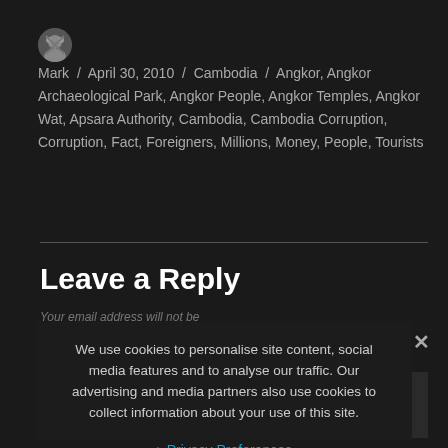Mark / April 30, 2010 / Cambodia / Angkor, Angkor Archaeological Park, Angkor People, Angkor Temples, Angkor Wat, Apsara Authority, Cambodia, Cambodia Corruption, Corruption, Fact, Foreigners, Millions, Money, People, Tourists
Leave a Reply
Your email address will not be published. Required fields are marked *
COMMENT *
We use cookies to personalise site content, social media features and to analyse our traffic. Our advertising and media partners also use cookies to collect information about your use of this site.
Privacy Preferences
I Agree